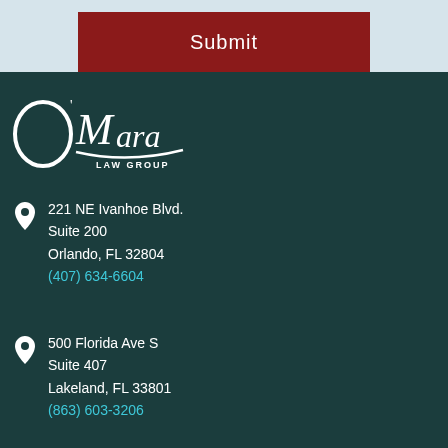Submit
[Figure (logo): O'Mara Law Group logo in white script on dark teal background]
221 NE Ivanhoe Blvd.
Suite 200
Orlando, FL 32804
(407) 634-6604
500 Florida Ave S
Suite 407
Lakeland, FL 33801
(863) 603-3206